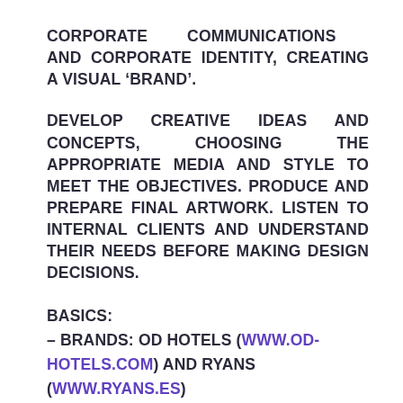CORPORATE COMMUNICATIONS AND CORPORATE IDENTITY, CREATING A VISUAL 'BRAND'.
DEVELOP CREATIVE IDEAS AND CONCEPTS, CHOOSING THE APPROPRIATE MEDIA AND STYLE TO MEET THE OBJECTIVES. PRODUCE AND PREPARE FINAL ARTWORK. LISTEN TO INTERNAL CLIENTS AND UNDERSTAND THEIR NEEDS BEFORE MAKING DESIGN DECISIONS.
BASICS:
– BRANDS: OD HOTELS (WWW.OD-HOTELS.COM) AND RYANS (WWW.RYANS.ES)
– LOCATION IBIZA
– OFFICE SPACE AVAILABLE